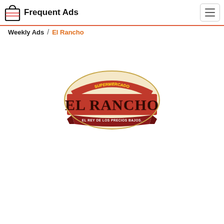Frequent Ads
Weekly Ads / El Rancho
[Figure (logo): Supermercado El Rancho logo — arched banner with 'SUPERMERCADO' at top in yellow on red, large text 'EL RANCHO' in bold dark red letters, and a ribbon below reading 'EL REY DE LOS PRECIOS BAJOS.' All on a beige/cream shield-shaped background with decorative border.]